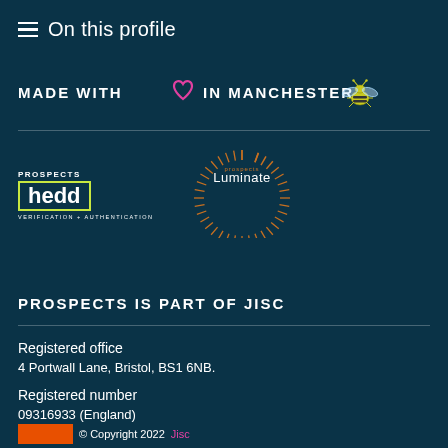On this profile
MADE WITH ♡ IN MANCHESTER 🐝
[Figure (logo): Prospects Hedd verification + authentication logo with yellow-green box border]
[Figure (logo): Prospects Luminate logo with sunburst rays]
PROSPECTS IS PART OF JISC
Registered office
4 Portwall Lane, Bristol, BS1 6NB.
Registered number
09316933 (England)
© Copyright 2022 Jisc